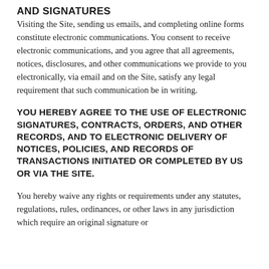AND SIGNATURES
Visiting the Site, sending us emails, and completing online forms constitute electronic communications. You consent to receive electronic communications, and you agree that all agreements, notices, disclosures, and other communications we provide to you electronically, via email and on the Site, satisfy any legal requirement that such communication be in writing.
YOU HEREBY AGREE TO THE USE OF ELECTRONIC SIGNATURES, CONTRACTS, ORDERS, AND OTHER RECORDS, AND TO ELECTRONIC DELIVERY OF NOTICES, POLICIES, AND RECORDS OF TRANSACTIONS INITIATED OR COMPLETED BY US OR VIA THE SITE.
You hereby waive any rights or requirements under any statutes, regulations, rules, ordinances, or other laws in any jurisdiction which require an original signature or